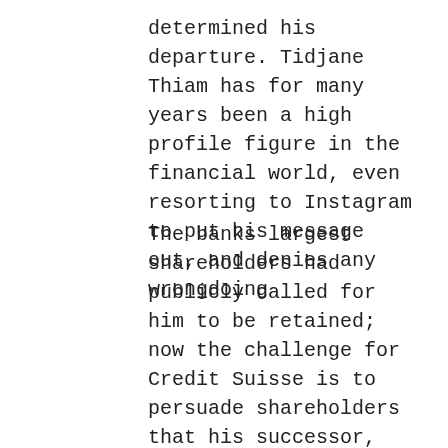determined his departure. Tidjane Thiam has for many years been a high profile figure in the financial world, even resorting to Instagram to put his message out, and denies any wrongdoing
The banks largest shareholders had publicly called for him to be retained; now the challenge for Credit Suisse is to persuade shareholders that his successor, bank veteran Thomas Gottstein, can continue to restore the bank's fortunes.